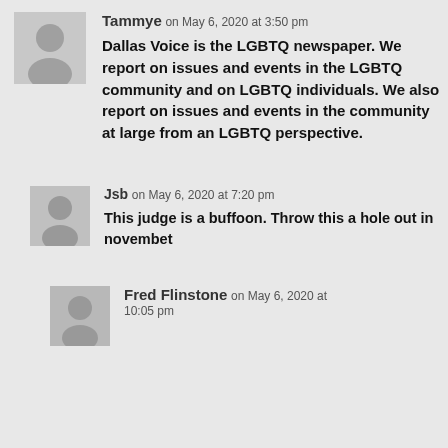Tammye on May 6, 2020 at 3:50 pm
Dallas Voice is the LGBTQ newspaper. We report on issues and events in the LGBTQ community and on LGBTQ individuals. We also report on issues and events in the community at large from an LGBTQ perspective.
Jsb on May 6, 2020 at 7:20 pm
This judge is a buffoon. Throw this a hole out in novembet
Fred Flinstone on May 6, 2020 at 10:05 pm